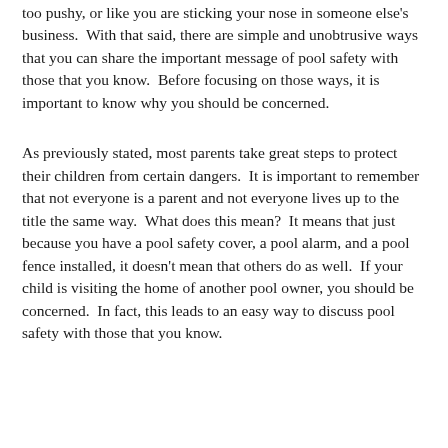too pushy, or like you are sticking your nose in someone else's business.  With that said, there are simple and unobtrusive ways that you can share the important message of pool safety with those that you know.  Before focusing on those ways, it is important to know why you should be concerned.
As previously stated, most parents take great steps to protect their children from certain dangers.  It is important to remember that not everyone is a parent and not everyone lives up to the title the same way.  What does this mean?  It means that just because you have a pool safety cover, a pool alarm, and a pool fence installed, it doesn't mean that others do as well.  If your child is visiting the home of another pool owner, you should be concerned.  In fact, this leads to an easy way to discuss pool safety with those that you know.